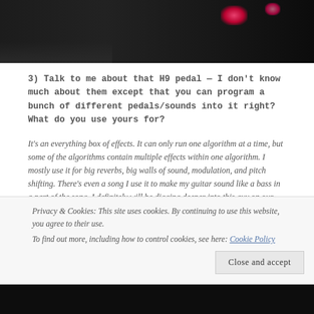[Figure (photo): Dark photograph of music equipment/pedals with red/pink glowing lights in background]
3) Talk to me about that H9 pedal — I don't know much about them except that you can program a bunch of different pedals/sounds into it right? What do you use yours for?
It's an everything box of effects. It can only run one algorithm at a time, but some of the algorithms contain multiple effects within one algorithm. I mostly use it for big reverbs, big walls of sound, modulation, and pitch shifting. There's even a song I use it to make my guitar sound like a bass in a part of the song. I definitely will be digging deeper into this guy on our new material we're writing.
Privacy & Cookies: This site uses cookies. By continuing to use this website, you agree to their use.
To find out more, including how to control cookies, see here: Cookie Policy
[Figure (photo): Dark photograph at bottom of page]